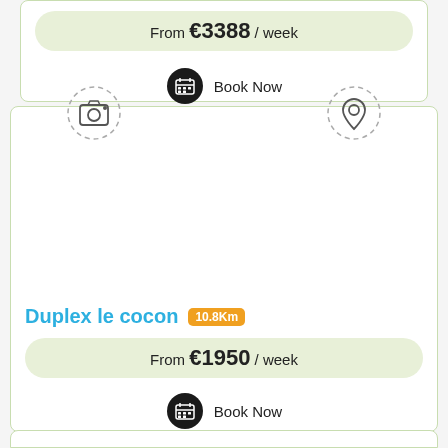From €3388 / week
Book Now
[Figure (screenshot): Property listing card for Duplex le cocon with camera and map pin icons, price, and Book Now button]
Duplex le cocon 10.8Km
From €1950 / week
Book Now